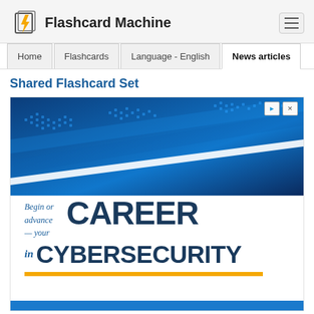Flashcard Machine
Home | Flashcards | Language - English | News articles
Shared Flashcard Set
[Figure (illustration): Advertisement banner for a cybersecurity career program. Top half shows a blue digital world map background. Bottom half on white background reads 'Begin or advance your CAREER in CYBERSECURITY' with a gold horizontal line accent. A blue bar runs across the bottom.]